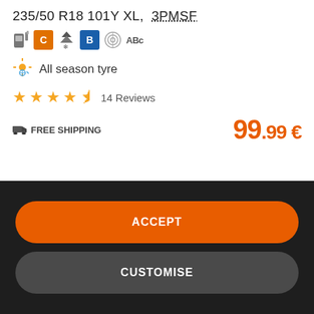235/50 R18 101Y XL,  3PMSF
[Figure (infographic): Tyre rating badges: fuel efficiency icon, C rating (orange), mountain/snowflake icon, B rating (blue), noise icon, ABc label]
All season tyre
14 Reviews
FREE SHIPPING
99.99 €
CONCERNING COOKIES AND OTHER TRACKERS
GRIP500 (Grip500.ie) and its partners (Google, Hotjar, Microsoft) use cookies and other trackers (web storage) to ensure the proper function of the site, to facilitate your browsing, to perform statistical measurements and to personalise its advertising campaigns. Cookies and other trackers stored on your device may contain personal data. Furthermore, we do not deposit any cookies or other trackers without your voluntary and informed consent, with the exception of those essential to the function of the site. We remember your choice for 6 months. You can withdraw your consent at
ACCEPT
CUSTOMISE